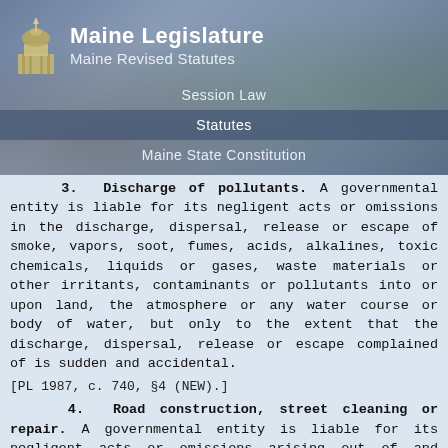Maine Legislature
Maine Revised Statutes
Session Law
Statutes
Maine State Constitution
Information
3. Discharge of pollutants. A governmental entity is liable for its negligent acts or omissions in the discharge, dispersal, release or escape of smoke, vapors, soot, fumes, acids, alkalines, toxic chemicals, liquids or gases, waste materials or other irritants, contaminants or pollutants into or upon land, the atmosphere or any water course or body of water, but only to the extent that the discharge, dispersal, release or escape complained of is sudden and accidental.
[PL 1987, c. 740, §4 (NEW).]
4. Road construction, street cleaning or repair. A governmental entity is liable for its negligent acts or omissions arising out of and occurring during the performance of construction, street cleaning or repair operations on any